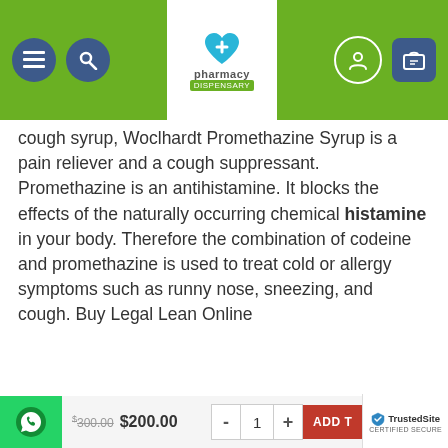[Figure (screenshot): Pharmacy website navigation bar with green background, hamburger and search icons on left, pharmacy logo in center, user and cart icons on right]
cough syrup, Woclhardt Promethazine Syrup is a pain reliever and a cough suppressant. Promethazine is an antihistamine. It blocks the effects of the naturally occurring chemical histamine in your body. Therefore the combination of codeine and promethazine is used to treat cold or allergy symptoms such as runny nose, sneezing, and cough. Buy Legal Lean Online
RELATED PRODUCTS
[Figure (photo): Two product thumbnail images side by side — left shows bottles/cans in grey/white tones, right shows cylindrical containers in warm brown tones]
[Figure (screenshot): Bottom checkout bar with WhatsApp button, crossed-out $300.00 price, $200.00 price, quantity selector showing 1, ADD TO CART button, and TrustedSite certified secure badge]